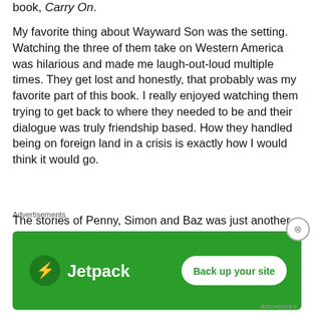book, Carry On.
My favorite thing about Wayward Son was the setting. Watching the three of them take on Western America was hilarious and made me laugh-out-loud multiple times. They get lost and honestly, that probably was my favorite part of this book. I really enjoyed watching them trying to get back to where they needed to be and their dialogue was truly friendship based. How they handled being on foreign land in a crisis is exactly how I would think it would go.
The stories of Penny, Simon and Baz was just another fantastic job done by Rainbow Rowell. I
Advertisements
[Figure (infographic): Jetpack advertisement banner with green background showing Jetpack logo and 'Back up your site' button]